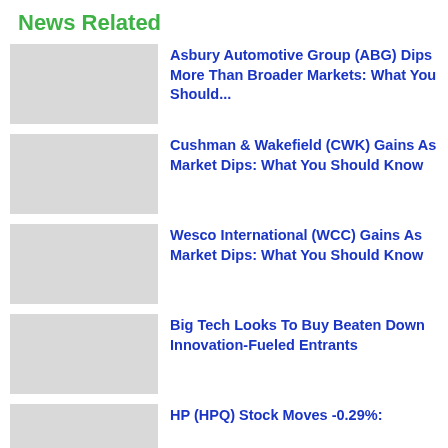News Related
Asbury Automotive Group (ABG) Dips More Than Broader Markets: What You Should...
Cushman & Wakefield (CWK) Gains As Market Dips: What You Should Know
Wesco International (WCC) Gains As Market Dips: What You Should Know
Big Tech Looks To Buy Beaten Down Innovation-Fueled Entrants
HP (HPQ) Stock Moves -0.29%: